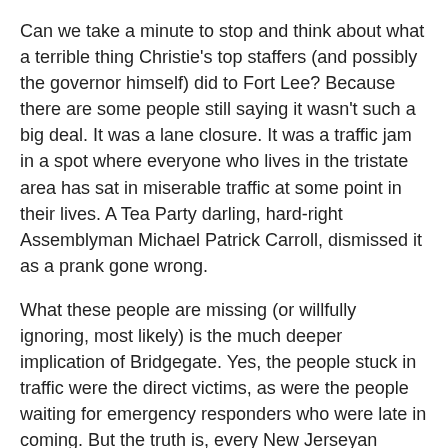Can we take a minute to stop and think about what a terrible thing Christie's top staffers (and possibly the governor himself) did to Fort Lee? Because there are some people still saying it wasn't such a big deal. It was a lane closure. It was a traffic jam in a spot where everyone who lives in the tristate area has sat in miserable traffic at some point in their lives. A Tea Party darling, hard-right Assemblyman Michael Patrick Carroll, dismissed it as a prank gone wrong.
What these people are missing (or willfully ignoring, most likely) is the much deeper implication of Bridgegate. Yes, the people stuck in traffic were the direct victims, as were the people waiting for emergency responders who were late in coming. But the truth is, every New Jerseyan became a victim that day -- a victim of a direct assault on their democratic rights.
A functional democracy depends on one fundamental idea: that every citizen is free to vote for the candidate of his or her choice, and that once elected, every official must act for the benefit of all, no matter whom they voted for. It's as simple as that.